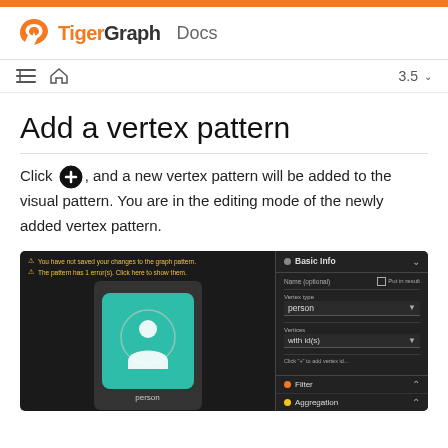TigerGraph Docs
Add a vertex pattern
Click [icon], and a new vertex pattern will be added to the visual pattern. You are in the editing mode of the newly added vertex pattern.
[Figure (screenshot): Screenshot of TigerGraph visual pattern editor showing a newly added 'person' vertex pattern with Basic Info panel on the right showing Name, Put in result, Vertex type (person), and Vertices (with id(s)) fields. Warning messages appear at top left. Filter and Aggregation rows visible at bottom.]